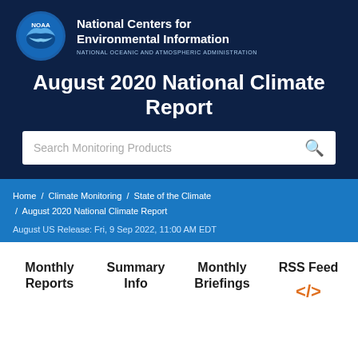[Figure (logo): NOAA National Centers for Environmental Information logo with circular emblem and organization name]
August 2020 National Climate Report
Search Monitoring Products
Home / Climate Monitoring / State of the Climate / August 2020 National Climate Report
August US Release: Fri, 9 Sep 2022, 11:00 AM EDT
Monthly Reports
Summary Info
Monthly Briefings
RSS Feed